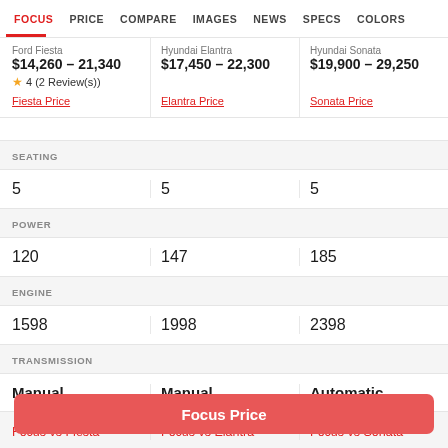FOCUS | PRICE | COMPARE | IMAGES | NEWS | SPECS | COLORS
Ford Fiesta
$14,260 – 21,340
★ 4 (2 Review(s))
Fiesta Price
Hyundai Elantra
$17,450 – 22,300
Elantra Price
Hyundai Sonata
$19,900 – 29,250
Sonata Price
| Ford Fiesta | Hyundai Elantra | Hyundai Sonata |
| --- | --- | --- |
| SEATING | SEATING | SEATING |
| 5 | 5 | 5 |
| POWER | POWER | POWER |
| 120 | 147 | 185 |
| ENGINE | ENGINE | ENGINE |
| 1598 | 1998 | 2398 |
| TRANSMISSION | TRANSMISSION | TRANSMISSION |
| Manual | Manual | Automatic |
Focus vs Fiesta | Focus vs Elantra | Focus vs Sonata
Focus Price